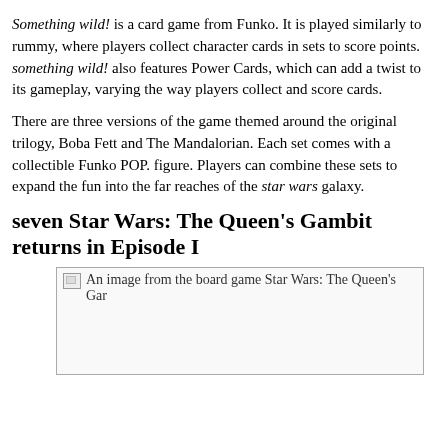Something wild! is a card game from Funko. It is played similarly to rummy, where players collect character cards in sets to score points. something wild! also features Power Cards, which can add a twist to its gameplay, varying the way players collect and score cards.
There are three versions of the game themed around the original trilogy, Boba Fett and The Mandalorian. Each set comes with a collectible Funko POP. figure. Players can combine these sets to expand the fun into the far reaches of the star wars galaxy.
seven Star Wars: The Queen's Gambit returns in Episode I
[Figure (photo): An image from the board game Star Wars: The Queen's Gambit]